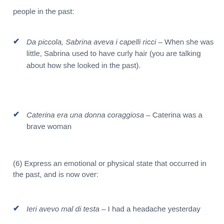people in the past:
Da piccola, Sabrina aveva i capelli ricci – When she was little, Sabrina used to have curly hair (you are talking about how she looked in the past).
Caterina era una donna coraggiosa – Caterina was a brave woman
(6) Express an emotional or physical state that occurred in the past, and is now over:
Ieri avevo mal di testa – I had a headache yesterday